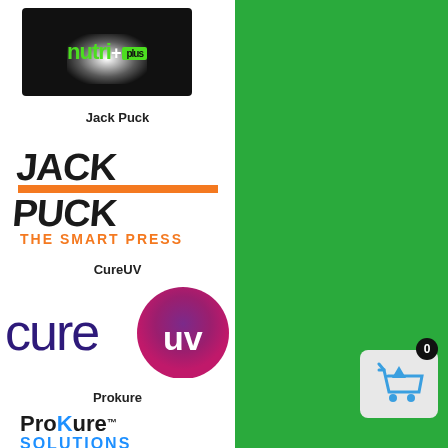[Figure (logo): Nutri+ logo: black background with white spotlight glow, green text 'nutri' and green '+plus' badge]
Jack Puck
[Figure (logo): Jack Puck - The Smart Press logo: stylized bold black angular letters 'JACK PUCK' with orange bar and orange text 'THE SMART PRESS' below]
CureUV
[Figure (logo): CureUV logo: dark purple text 'cure' followed by gradient purple-to-pink circle with white 'uv' text inside]
Prokure
[Figure (logo): ProKure Solutions - Revolutionizing Clean logo: bold black and blue text with trademark symbol]
[Figure (other): Shopping cart icon widget with blue basket icon on grey background and black badge showing '0']